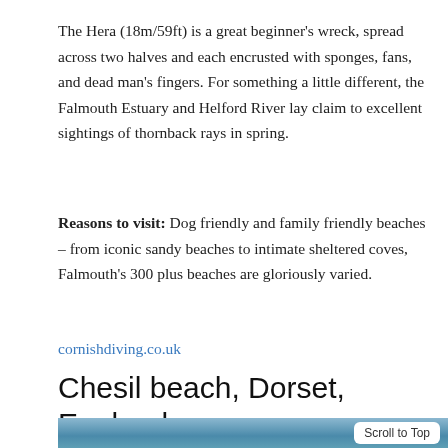The Hera (18m/59ft) is a great beginner's wreck, spread across two halves and each encrusted with sponges, fans, and dead man's fingers. For something a little different, the Falmouth Estuary and Helford River lay claim to excellent sightings of thornback rays in spring.
Reasons to visit: Dog friendly and family friendly beaches – from iconic sandy beaches to intimate sheltered coves, Falmouth's 300 plus beaches are gloriously varied.
cornishdiving.co.uk
Chesil beach, Dorset, England
[Figure (photo): Partial view of a beach scene with blue-gray sky and water, with a 'Scroll to Top' button overlay in the lower right.]